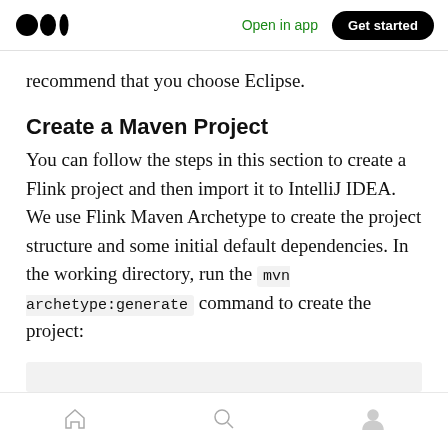Open in app  Get started
recommend that you choose Eclipse.
Create a Maven Project
You can follow the steps in this section to create a Flink project and then import it to IntelliJ IDEA. We use Flink Maven Archetype to create the project structure and some initial default dependencies. In the working directory, run the mvn archetype:generate command to create the project:
Home  Search  Profile